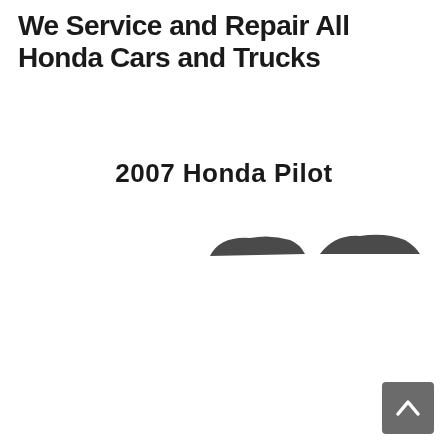We Service and Repair All Honda Cars and Trucks
2007 Honda Pilot
[Figure (illustration): Small partial image of vehicles, appears to be top portions of two cars visible at bottom right area]
[Figure (other): Gray scroll-to-top button with upward chevron arrow in bottom right corner]